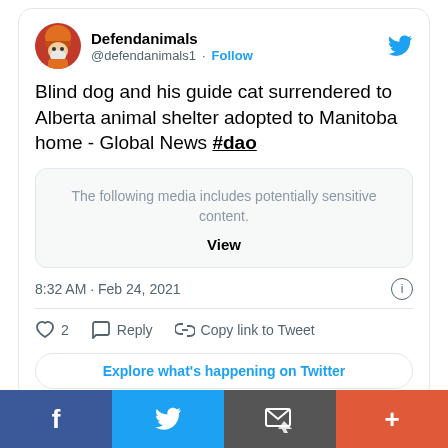[Figure (screenshot): Twitter/X profile avatar: illustrated character with orange helmet and beard]
Defendanimals @defendanimals1 · Follow
Blind dog and his guide cat surrendered to Alberta animal shelter adopted to Manitoba home - Global News #dao
The following media includes potentially sensitive content. View
8:32 AM · Feb 24, 2021
2  Reply  Copy link to Tweet
Explore what's happening on Twitter
[Figure (infographic): Bottom share bar with Facebook (blue), Twitter (light blue), message/email (grey), and plus (orange-red) buttons]